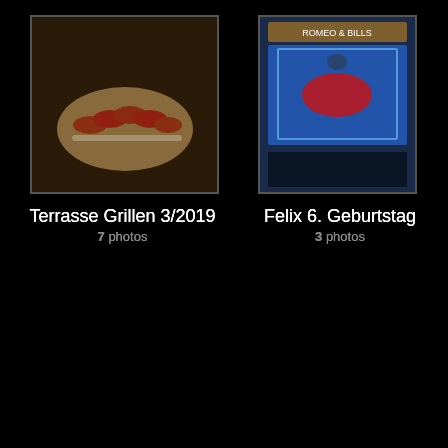[Figure (photo): Grilled food on a plate, bacon-wrapped sausages]
Terrasse Grillen 3/2019
7 photos
[Figure (photo): Person holding a Lego set box showing a stadium]
Felix 6. Geburtstag
3 photos
[Figure (photo): Lego Darth Malgus figure on wooden surface with red lightsaber]
Darth Malgus
3 photos
[Figure (photo): Lego Savage Opress figure on tree bark with weapon]
Savage Opress
2 photos
Lego
[Figure (photo): Colorful food spread on table, party snacks]
[Figure (photo): Decorative item on wooden surface, appears to be a face or mask]